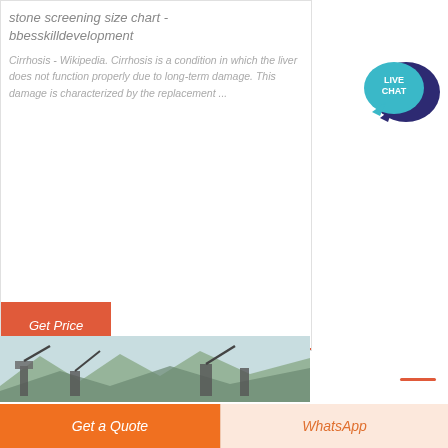stone screening size chart - bbesskilldevelopment
Cirrhosis - Wikipedia. Cirrhosis is a condition in which the liver does not function properly due to long-term damage. This damage is characterized by the replacement ...
[Figure (other): Get Price button - orange/red rectangular button with italic white text]
[Figure (other): Live Chat speech bubble icon in teal/dark blue colors with white text LIVE CHAT]
[Figure (photo): Stone screening / quarry industrial machinery photo with mountains in background]
[Figure (other): Footer bar with orange Get a Quote button on left and light peach WhatsApp button on right]